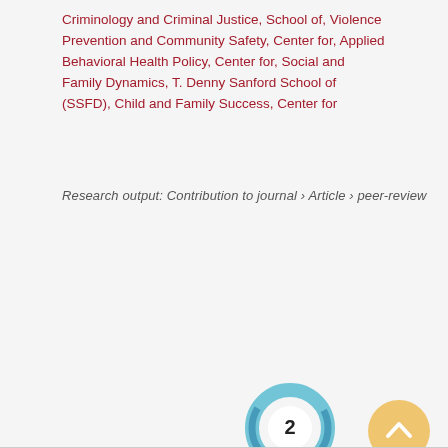Criminology and Criminal Justice, School of, Violence Prevention and Community Safety, Center for, Applied Behavioral Health Policy, Center for, Social and Family Dynamics, T. Denny Sanford School of (SSFD), Child and Family Success, Center for
Research output: Contribution to journal › Article › peer-review
[Figure (infographic): Scopus citations count showing 37 in large crimson text with 'Scopus citations' label below]
[Figure (donut-chart): Donut chart badge showing number 2, with teal/blue circular ring around white center circle]